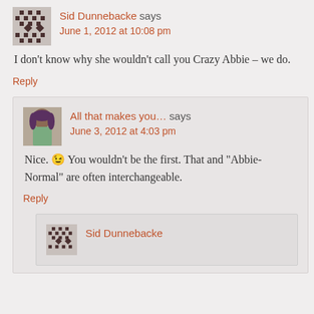Sid Dunnebacke says
June 1, 2012 at 10:08 pm
I don't know why she wouldn't call you Crazy Abbie – we do.
Reply
All that makes you... says
June 3, 2012 at 4:03 pm
Nice. 😉 You wouldn't be the first. That and "Abbie-Normal" are often interchangeable.
Reply
Sid Dunnebacke